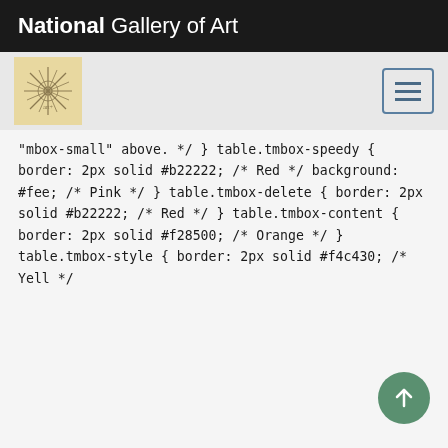National Gallery of Art
[Figure (logo): Navigation bar with decorative logo image and hamburger menu button]
"mbox-small" above.                    */
}

table.tmbox-speedy {
      border: 2px solid #b22222;      /* Red */
      background: #fee;               /* Pink */
}
table.tmbox-delete {
      border: 2px solid #b22222;      /* Red */
}
table.tmbox-content {
      border: 2px solid #f28500;      /* Orange
*/
}
table.tmbox-style {
      border: 2px solid #f4c430;      /* Yell
*/